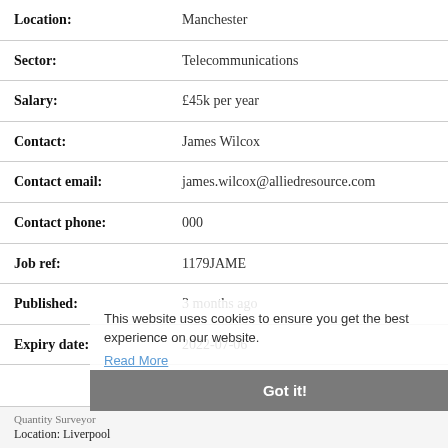| Location: | Manchester |
| Sector: | Telecommunications |
| Salary: | £45k per year |
| Contact: | James Wilcox |
| Contact email: | james.wilcox@alliedresource.com |
| Contact phone: | 000 |
| Job ref: | 1179JAME |
| Published: | 3 months ago |
| Expiry date: | 2022-07-06 |
This website uses cookies to ensure you get the best experience on our website. Read More
Got it!
Quantity Surveyor
Location: Liverpool